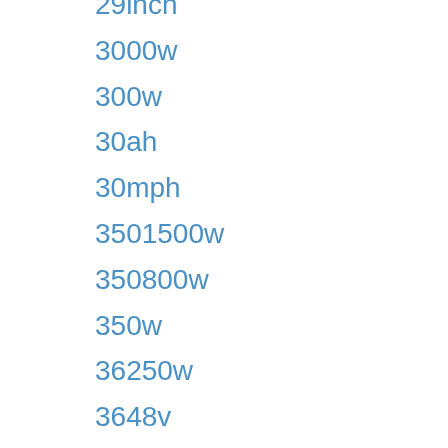29inch
3000w
300w
30ah
30mph
3501500w
350800w
350w
36250w
3648v
36v13ah
36v250w
36v350w
36v48v
36v48v52v